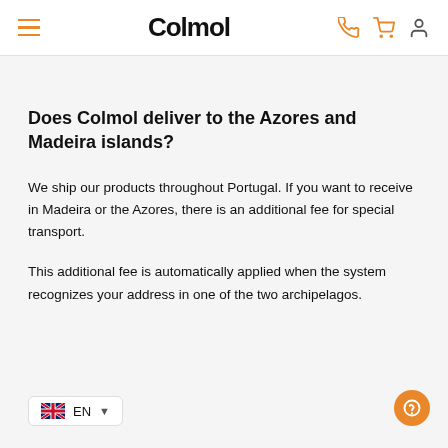Colmol
Does Colmol deliver to the Azores and Madeira islands?
We ship our products throughout Portugal. If you want to receive in Madeira or the Azores, there is an additional fee for special transport.
This additional fee is automatically applied when the system recognizes your address in one of the two archipelagos.
EN